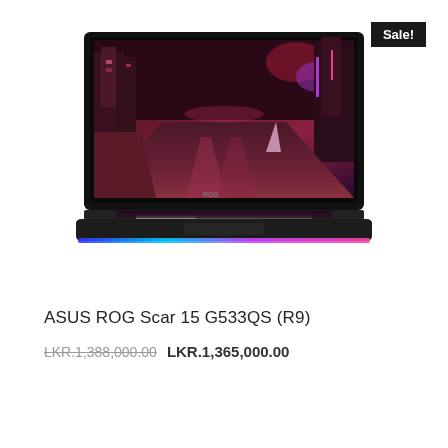[Figure (photo): ASUS ROG Scar 15 G533QS (R9) gaming laptop with RGB lighting and a cyberpunk city scene displayed on screen, shown with a 'Sale!' badge in the top right corner]
ASUS ROG Scar 15 G533QS (R9)
LKR.1,388,000.00 LKR.1,365,000.00